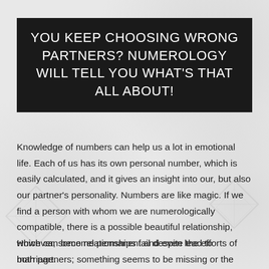YOU KEEP CHOOSING WRONG PARTNERS? NUMEROLOGY WILL TELL YOU WHAT'S THAT ALL ABOUT!
Knowledge of numbers can help us a lot in emotional life. Each of us has its own personal number, which is easily calculated, and it gives an insight into our, but also our partner's personality. Numbers are like magic. If we find a person with whom we are numerologically compatible, there is a possible beautiful relationship, which can become permanent and even lead to marriage.
However, some relationships fail despite the efforts of both partners; something seems to be missing or the character